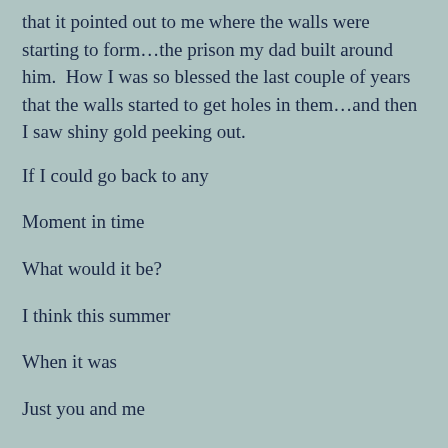that it pointed out to me where the walls were starting to form…the prison my dad built around him.  How I was so blessed the last couple of years that the walls started to get holes in them…and then I saw shiny gold peeking out.
If I could go back to any
Moment in time
What would it be?
I think this summer
When it was
Just you and me